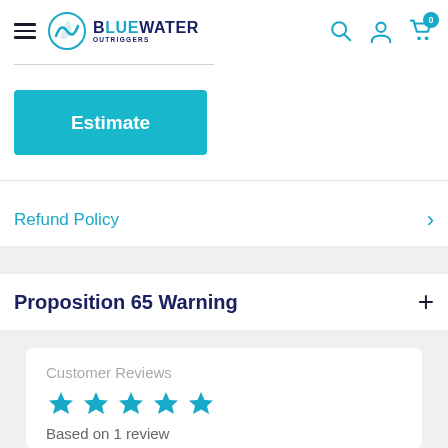BlueWater Outriggers
Estimate
Refund Policy
Proposition 65 Warning
Customer Reviews
Based on 1 review